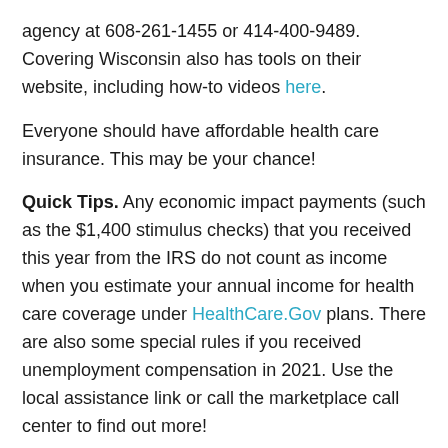agency at 608-261-1455 or 414-400-9489. Covering Wisconsin also has tools on their website, including how-to videos here.
Everyone should have affordable health care insurance. This may be your chance!
Quick Tips. Any economic impact payments (such as the $1,400 stimulus checks) that you received this year from the IRS do not count as income when you estimate your annual income for health care coverage under HealthCare.Gov plans. There are also some special rules if you received unemployment compensation in 2021. Use the local assistance link or call the marketplace call center to find out more!